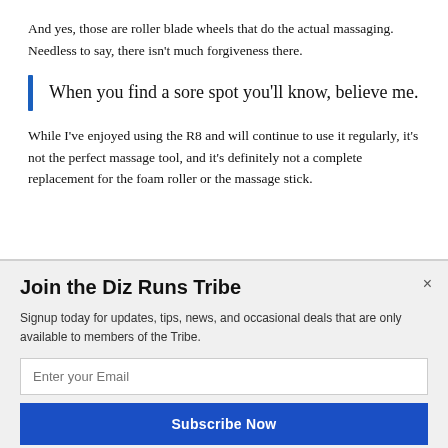And yes, those are roller blade wheels that do the actual massaging. Needless to say, there isn't much forgiveness there.
When you find a sore spot you'll know, believe me.
While I've enjoyed using the R8 and will continue to use it regularly, it's not the perfect massage tool, and it's definitely not a complete replacement for the foam roller or the massage stick.
Join the Diz Runs Tribe
Signup today for updates, tips, news, and occasional deals that are only available to members of the Tribe.